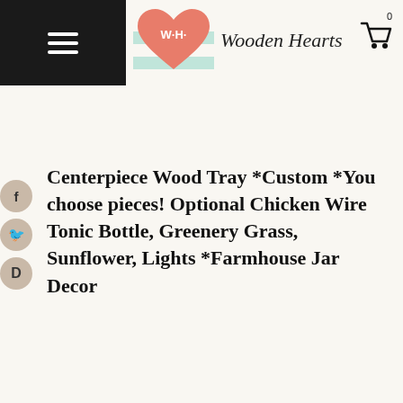[Figure (logo): Wooden Hearts store logo: heart shape with W·H text on striped mint/white background, and store name 'Wooden Hearts' in script font]
Centerpiece Wood Tray *Custom *You choose pieces! Optional Chicken Wire Tonic Bottle, Greenery Grass, Sunflower, Lights *Farmhouse Jar Decor